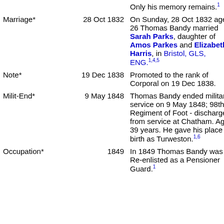| Event | Date | Description |
| --- | --- | --- |
|  |  | Only his memory remains.1 |
| Marriage* | 28 Oct 1832 | On Sunday, 28 Oct 1832 aged 26 Thomas Bandy married Sarah Parks, daughter of Amos Parkes and Elizabeth Harris, in Bristol, GLS, ENG.1,4,5 |
| Note* | 19 Dec 1838 | Promoted to the rank of Corporal on 19 Dec 1838. |
| Milit-End* | 9 May 1848 | Thomas Bandy ended military service on 9 May 1848; 98th Regiment of Foot - discharged from service at Chatham. Age 39 years. He gave his place of birth as Turweston.1,6 |
| Occupation* | 1849 | In 1849 Thomas Bandy was a Re-enlisted as a Pensioner Guard.1 |